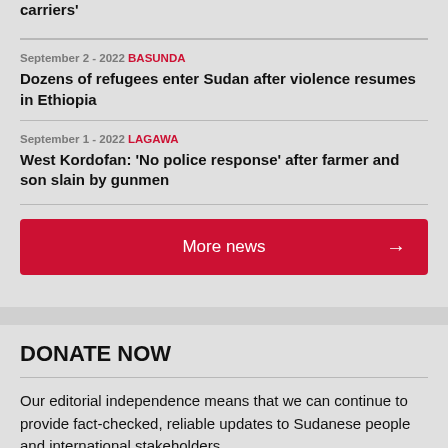carriers'
September 2 - 2022 BASUNDA
Dozens of refugees enter Sudan after violence resumes in Ethiopia
September 1 - 2022 LAGAWA
West Kordofan: 'No police response' after farmer and son slain by gunmen
More news →
DONATE NOW
Our editorial independence means that we can continue to provide fact-checked, reliable updates to Sudanese people and international stakeholders.
[Figure (photo): Hand holding a coin or donation item, partially visible at bottom of page]